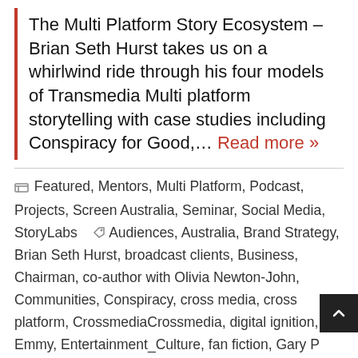The Multi Platform Story Ecosystem – Brian Seth Hurst takes us on a whirlwind ride through his four models of Transmedia Multi platform storytelling with case studies including Conspiracy for Good,… Read more »
Featured, Mentors, Multi Platform, Podcast, Projects, Screen Australia, Seminar, Social Media, StoryLabs   Audiences, Australia, Brand Strategy, Brian Seth Hurst, broadcast clients, Business, Chairman, co-author with Olivia Newton-John, Communities, Conspiracy, cross media, cross platform, CrossmediaCrossmedia, digital ignition, Emmy, Entertainment_Culture, fan fiction, Gary P Hayes, Hollywood, Legion of Extraordinary Dancers, management company, media executives, MobiTV, Multi-platform, multiplatform, NBCUniversal, opportunity management, pittard sullivan, podcast, Screen Australia, seth, Social Samba, StoryLabs, Storytelling, Swedish Pubic Television, Sydney, Television Academy, the Hollywood